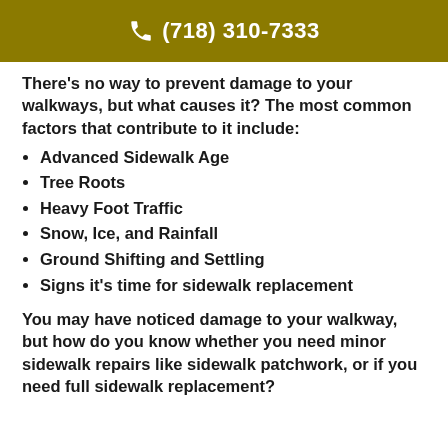(718) 310-7333
There's no way to prevent damage to your walkways, but what causes it? The most common factors that contribute to it include:
Advanced Sidewalk Age
Tree Roots
Heavy Foot Traffic
Snow, Ice, and Rainfall
Ground Shifting and Settling
Signs it's time for sidewalk replacement
You may have noticed damage to your walkway, but how do you know whether you need minor sidewalk repairs like sidewalk patchwork, or if you need full sidewalk replacement?